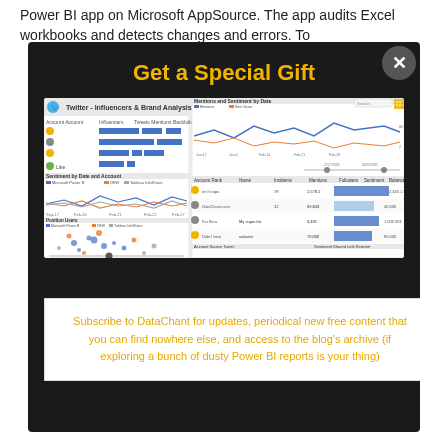Power BI app on Microsoft AppSource. The app audits Excel workbooks and detects changes and errors. To
Get a Special Gift
[Figure (screenshot): Twitter - Influencers & Brand Analysis Power BI dashboard showing multiple panels: bar charts, line charts, scatter plot of Position Users, and a data table with Mentions and Sentiment by Date.]
Subscribe to DataChant for updates, periodical new free content that you can find nowhere else, and access to the blog's archive (if exploring a bunch of dusty Power BI reports is your thing)